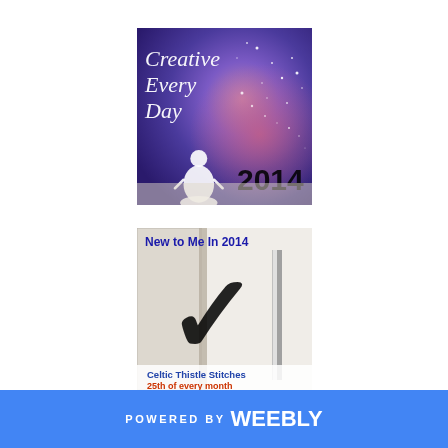[Figure (logo): Creative Every Day 2014 badge - purple/blue galaxy background with a meditating figure and sparkles, white italic text reading Creative Every Day, black text 2014]
[Figure (logo): New to Me In 2014 badge - white background with large black checkmark and number 1, blue text New to Me In 2014 at top, orange/red text Celtic Thistle Stitches 25th of every month at bottom]
[Figure (logo): W.I.P. Wednesday Link-up red rounded button badge with blue text]
POWERED BY weebly